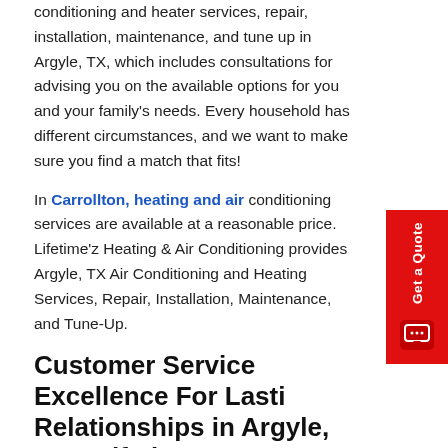conditioning and heater services, repair, installation, maintenance, and tune up in Argyle, TX, which includes consultations for advising you on the available options for you and your family's needs. Every household has different circumstances, and we want to make sure you find a match that fits!
In Carrollton, heating and air conditioning services are available at a reasonable price. Lifetime'z Heating & Air Conditioning provides Argyle, TX Air Conditioning and Heating Services, Repair, Installation, Maintenance, and Tune-Up.
Customer Service Excellence For Lasting Relationships in Argyle, TX – Lifetime'z Heating & Air
Have you ever experienced customer service from the big corporate companies and felt like they didn't care about you at all? Have you ever been on hold for hours at a time, waiting for a representative to pick up the phone?